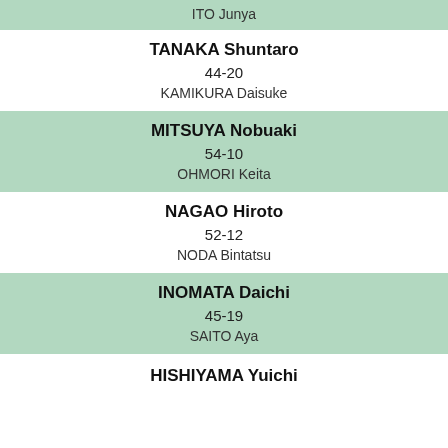ITO Junya
TANAKA Shuntaro
44-20
KAMIKURA Daisuke
MITSUYA Nobuaki
54-10
OHMORI Keita
NAGAO Hiroto
52-12
NODA Bintatsu
INOMATA Daichi
45-19
SAITO Aya
HISHIYAMA Yuichi